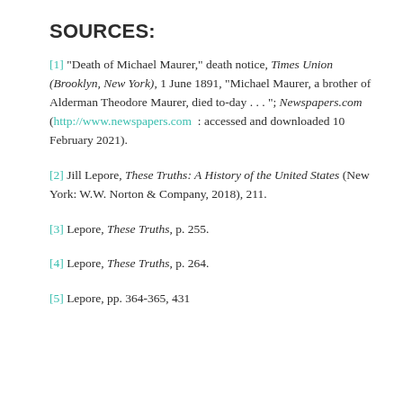SOURCES:
[1] "Death of Michael Maurer," death notice, Times Union (Brooklyn, New York), 1 June 1891, "Michael Maurer, a brother of Alderman Theodore Maurer, died to-day . . ."; Newspapers.com (http://www.newspapers.com : accessed and downloaded 10 February 2021).
[2] Jill Lepore, These Truths: A History of the United States (New York: W.W. Norton & Company, 2018), 211.
[3] Lepore, These Truths, p. 255.
[4] Lepore, These Truths, p. 264.
[5] Lepore, pp. 364-365, 431